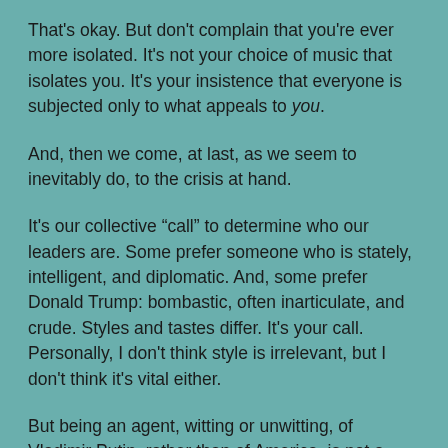That's okay. But don't complain that you're ever more isolated. It's not your choice of music that isolates you. It's your insistence that everyone is subjected only to what appeals to you.
And, then we come, at last, as we seem to inevitably do, to the crisis at hand.
It's our collective “call” to determine who our leaders are. Some prefer someone who is stately, intelligent, and diplomatic. And, some prefer Donald Trump: bombastic, often inarticulate, and crude. Styles and tastes differ. It's your call. Personally, I don't think style is irrelevant, but I don't think it's vital either.
But being an agent, witting or unwitting, of Vladimir Putin, rather than of America, is not a question of style. Doing what is in Russian interests and against the interest of America over and over is not a matter of